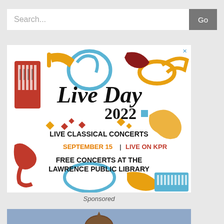[Figure (screenshot): Search bar with text input field showing 'Search...' placeholder and a gray 'Go' button]
[Figure (illustration): Live Day 2022 advertisement banner with colorful musical instrument illustrations (keyboard, trumpets, French horns, guitar). Text reads: 'Live Day 2022 / LIVE CLASSICAL CONCERTS / SEPTEMBER 15 | LIVE ON KPR / FREE CONCERTS AT THE LAWRENCE PUBLIC LIBRARY'. Has a close X button in top right.]
Sponsored
[Figure (photo): Partial photo showing a building dome/capitol building against a blue-gray sky, cropped at bottom of page]